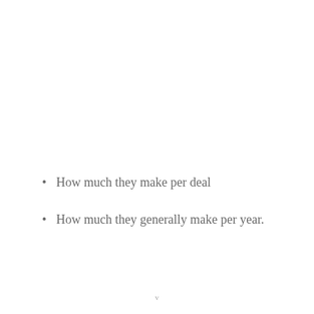How much they make per deal
How much they generally make per year.
v